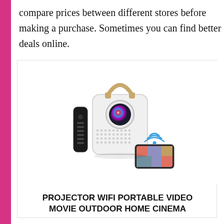compare prices between different stores before making a purchase. Sometimes you can find better deals online.
[Figure (photo): A white portable WiFi projector with a gold carrying handle and a colorful lens, shown alongside a black remote control and a smartphone displaying a colorful image, with a WiFi symbol visible.]
PROJECTOR WIFI PORTABLE VIDEO MOVIE OUTDOOR HOME CINEMA